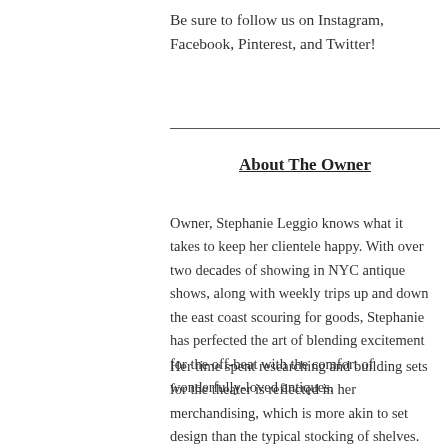Be sure to follow us on Instagram, Facebook, Pinterest, and Twitter!
About The Owner
Owner, Stephanie Leggio knows what it takes to keep her clientele happy. With over two decades of showing in NYC antique shows, along with weekly trips up and down the east coast scouring for goods, Stephanie has perfected the art of blending excitement for the off-beat with the comfort of wonderfully-loved antiques.
Her time spent researching and building sets for the theater is reflected in her merchandising, which is more akin to set design than the typical stocking of shelves. Her clientele list of set designers and prop masters has resulted in the